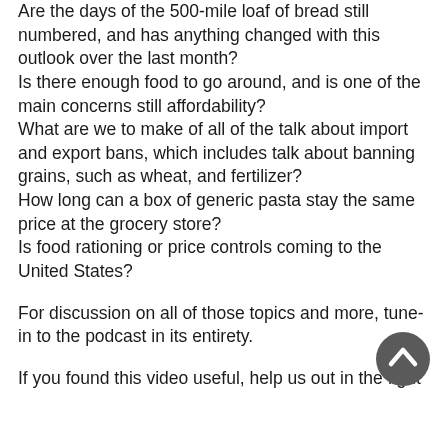Are the days of the 500-mile loaf of bread still numbered, and has anything changed with this outlook over the last month? Is there enough food to go around, and is one of the main concerns still affordability? What are we to make of all of the talk about import and export bans, which includes talk about banning grains, such as wheat, and fertilizer? How long can a box of generic pasta stay the same price at the grocery store? Is food rationing or price controls coming to the United States?

For discussion on all of those topics and more, tune-in to the podcast in its entirety.

If you found this video useful, help us out in the fight
[Figure (other): A dark grey circular scroll-to-top button with an upward-pointing chevron/arrow icon in white, positioned in the lower right area of the page.]